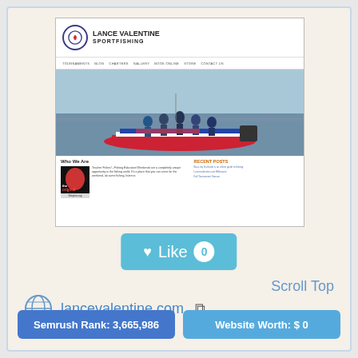[Figure (screenshot): Screenshot of lancevalentine.com website showing the Lance Valentine Sportfishing header with logo, navigation bar, hero image of people on a fishing boat, 'Who We Are' section with thumbnail and text, and Recent Posts sidebar.]
[Figure (other): Light blue Like button with heart icon, the word 'Like', and a count badge of 0]
Scroll Top
lancevalentine.com
Semrush Rank: 3,665,986
Website Worth: $ 0